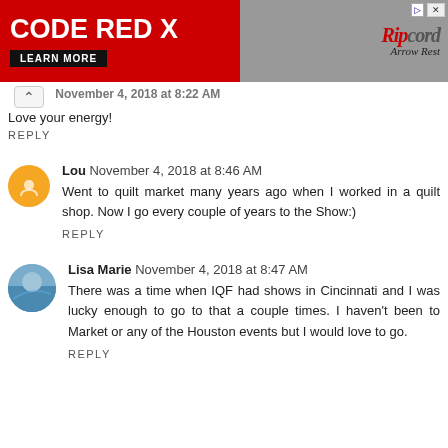[Figure (other): Advertisement banner for 'Code Red X' by Ripcord Arrow Rest with red background, product image, and 'Learn More' button]
November 4, 2018 at 8:22 AM
Love your energy!
REPLY
Lou  November 4, 2018 at 8:46 AM
Went to quilt market many years ago when I worked in a quilt shop. Now I go every couple of years to the Show:)
REPLY
Lisa Marie  November 4, 2018 at 8:47 AM
There was a time when IQF had shows in Cincinnati and I was lucky enough to go to that a couple times. I haven't been to Market or any of the Houston events but I would love to go.
REPLY